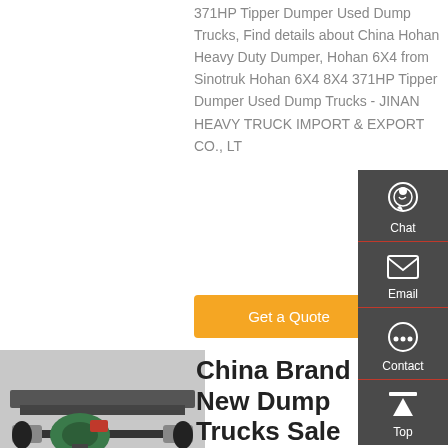371HP Tipper Dumper Used Dump Trucks, Find details about China Hohan Heavy Duty Dumper, Hohan 6X4 from Sinotruk Hohan 6X4 8X4 371HP Tipper Dumper Used Dump Trucks - JINAN HEAVY TRUCK IMPORT & EXPORT CO., LT
Get a Quote
[Figure (photo): Underside/axle view of a dump truck chassis in a white/grey indoor setting, showing green suspension components and mechanical parts.]
China Brand New Dump Trucks Sale Made For Various
China Tipper Truck, Tipper Truck
[Figure (infographic): Side panel with Chat, Email, Contact, and Top navigation icons on dark grey background.]